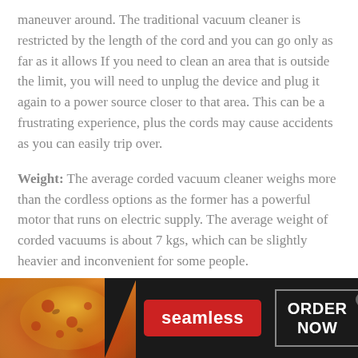maneuver around. The traditional vacuum cleaner is restricted by the length of the cord and you can go only as far as it allows If you need to clean an area that is outside the limit, you will need to unplug the device and plug it again to a power source closer to that area. This can be a frustrating experience, plus the cords may cause accidents as you can easily trip over.
Weight: The average corded vacuum cleaner weighs more than the cordless options as the former has a powerful motor that runs on electric supply. The average weight of corded vacuums is about 7 kgs, which can be slightly heavier and inconvenient for some people.
[Figure (infographic): Advertisement banner for Seamless food ordering service. Dark background with pizza image on left, red 'seamless' button in center, and 'ORDER NOW' button on right with a close (x) button in top right corner.]